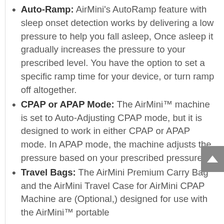Auto-Ramp: AirMini's AutoRamp feature with sleep onset detection works by delivering a low pressure to help you fall asleep, Once asleep it gradually increases the pressure to your prescribed level. You have the option to set a specific ramp time for your device, or turn ramp off altogether.
CPAP or APAP Mode: The AirMini™ machine is set to Auto-Adjusting CPAP mode, but it is designed to work in either CPAP or APAP mode. In APAP mode, the machine adjusts the pressure based on your prescribed pressure.
Travel Bags: The AirMini Premium Carry Bag and the AirMini Travel Case for AirMini CPAP Machine are (Optional,) designed for use with the AirMini™ portable